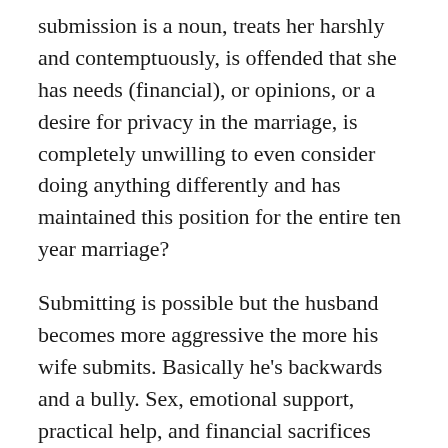submission is a noun, treats her harshly and contemptuously, is offended that she has needs (financial), or opinions, or a desire for privacy in the marriage, is completely unwilling to even consider doing anything differently and has maintained this position for the entire ten year marriage?
Submitting is possible but the husband becomes more aggressive the more his wife submits. Basically he's backwards and a bully. Sex, emotional support, practical help, and financial sacrifices makes him meaner. What do you recommend in this situation?
I gave up because it got to the point I had concerns about my husband kidnapping our kids out of the country and my physical safety. It seems there should be a limit or ability to address sin from the wife to the